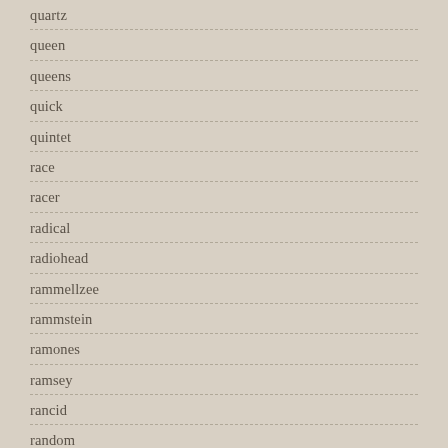quartz
queen
queens
quick
quintet
race
racer
radical
radiohead
rammellzee
rammstein
ramones
ramsey
rancid
random
rare